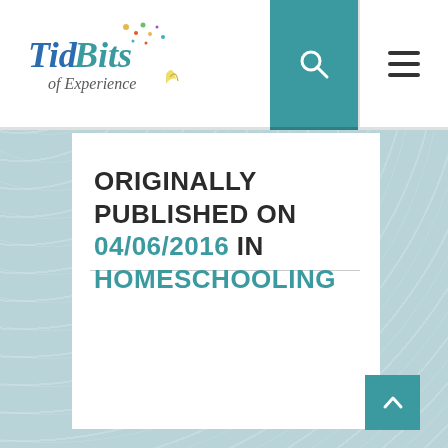TidBits of Experience — navigation bar with logo, search, and menu
ORIGINALLY PUBLISHED ON 04/06/2016 IN HOMESCHOOLING